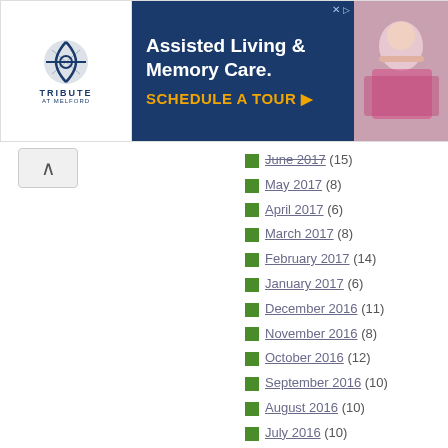[Figure (other): Advertisement banner for Tribute at Melford Assisted Living & Memory Care with Schedule a Tour call to action]
June 2017 (15)
May 2017 (8)
April 2017 (6)
March 2017 (8)
February 2017 (14)
January 2017 (6)
December 2016 (11)
November 2016 (8)
October 2016 (12)
September 2016 (10)
August 2016 (10)
July 2016 (10)
June 2016 (9)
May 2016 (7)
April 2016 (10)
March 2016 (8)
February 2016 (6)
January 2016 (9)
October 2015 (4)
September 2015 (3)
August 2015 (11)